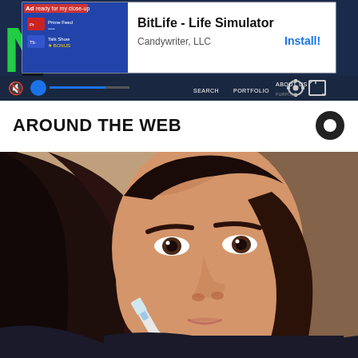[Figure (screenshot): Screenshot of a website with an app advertisement overlay. Shows BitLife - Life Simulator app ad by Candywriter, LLC with an Install button. Background shows a dark blue website with green neon letter N on left and right sides, navigation bar with SEARCH, PORTFOLIO, ABOUT US, CONTACT links.]
AROUND THE WEB
[Figure (photo): Close-up photo of a woman with dark hair applying something to her nose with a toothbrush or similar tool. She is looking at the camera.]